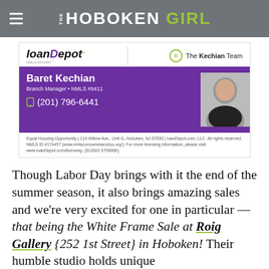THE HOBOKEN GIRL
[Figure (advertisement): loanDepot / The Kechian Team advertisement featuring Baret Kechian, Branch Manager NMLS #9411, phone (201) 796-6441, with Equal Housing Opportunity disclaimer text.]
Though Labor Day brings with it the end of the summer season, it also brings amazing sales and we're very excited for one in particular — that being the White Frame Sale at Roig Gallery {252 1st Street} in Hoboken! Their humble studio holds unique